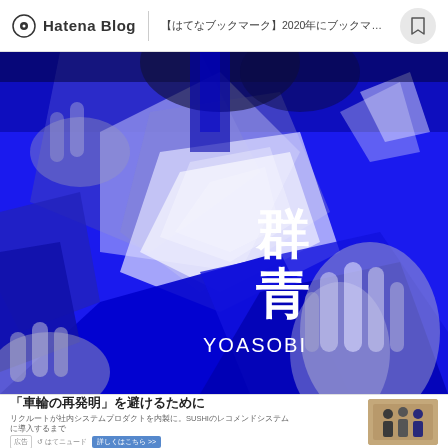Hatena Blog | ［はてなブックマーク］2020年にブックマークされた記事 100→51
[Figure (photo): YOASOBI 群青 album art cover - vivid blue abstract image with hands and geometric shapes, featuring Japanese text 群青 (Gunjou) and YOASOBI in white letters]
「車輪の再発明」を避けるために リクルートが社内システムプロダクトを内製に。SUSHIのレコメンドシステムに導入するまで